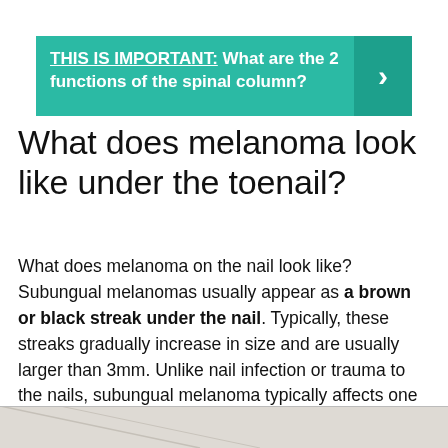THIS IS IMPORTANT: What are the 2 functions of the spinal column?
What does melanoma look like under the toenail?
What does melanoma on the nail look like? Subungual melanomas usually appear as a brown or black streak under the nail. Typically, these streaks gradually increase in size and are usually larger than 3mm. Unlike nail infection or trauma to the nails, subungual melanoma typically affects one nail at a time.
[Figure (photo): Partial image of a nail at the bottom of the page, cropped]